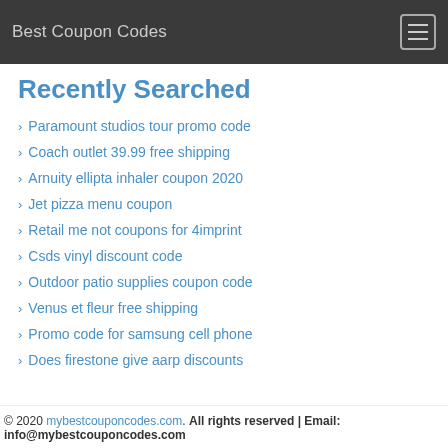Best Coupon Codes
Recently Searched
Paramount studios tour promo code
Coach outlet 39.99 free shipping
Arnuity ellipta inhaler coupon 2020
Jet pizza menu coupon
Retail me not coupons for 4imprint
Csds vinyl discount code
Outdoor patio supplies coupon code
Venus et fleur free shipping
Promo code for samsung cell phone
Does firestone give aarp discounts
© 2020 mybestcouponcodes.com. All rights reserved | Email: info@mybestcouponcodes.com